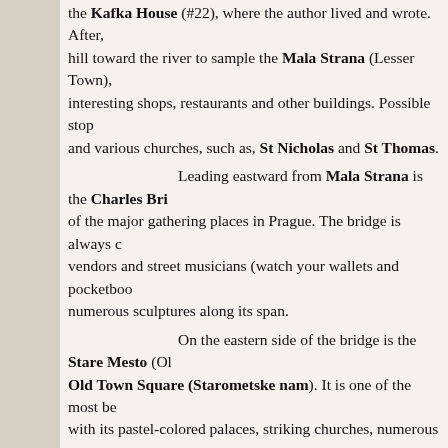the Kafka House (#22), where the author lived and wrote. After, head down the hill toward the river to sample the Mala Strana (Lesser Town), which has many interesting shops, restaurants and other buildings. Possible stops include palaces and various churches, such as, St Nicholas and St Thomas.

Leading eastward from Mala Strana is the Charles Bri... of the major gathering places in Prague. The bridge is always crowded with vendors and street musicians (watch your wallets and pocketbooks), and has numerous sculptures along its span.

On the eastern side of the bridge is the Stare Mesto (Old Town) and its Old Town Square (Starometske nam). It is one of the most be... with its pastel-colored palaces, striking churches, numerous out... Particularly enchanting is the Old Town Hall with its Astronom... visitors with its workings every hour on the hour. Note also the... religious reformer, the Baroque St Nicholas Church, and, perha... from the outside, the Gothic Tyn Church with its twin steeples... other buildings.

The remainder of the Old Town has many narrow streets... and many shops and restaurants.

Another area to explore is New Town (Nove Mesto), wi...